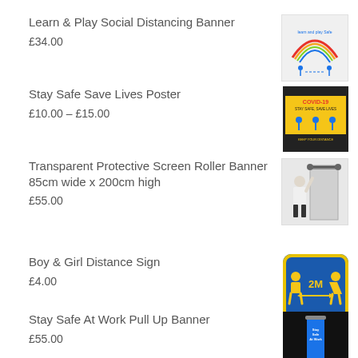Learn & Play Social Distancing Banner
£34.00
[Figure (photo): Learn and Play social distancing banner with rainbow and distance markers]
Stay Safe Save Lives Poster
£10.00 – £15.00
[Figure (photo): COVID-19 Stay Safe Save Lives poster with yellow and black hazard styling]
Transparent Protective Screen Roller Banner 85cm wide x 200cm high
£55.00
[Figure (photo): Transparent protective screen roller banner with woman standing next to it]
Boy & Girl Distance Sign
£4.00
[Figure (photo): Blue square sign with yellow border showing boy and girl figures with 2M distance arrow]
Stay Safe At Work Pull Up Banner
£55.00
[Figure (photo): Black background pull up banner for Stay Safe At Work]